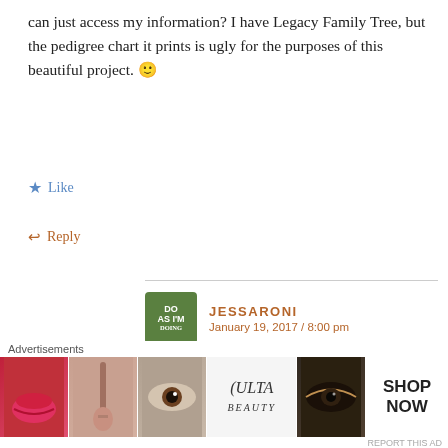can just access my information? I have Legacy Family Tree, but the pedigree chart it prints is ugly for the purposes of this beautiful project. 🙂
★ Like
↩ Reply
JESSARONI
January 19, 2017 / 8:00 pm
I included a couple blank pedigree charts but you would then need to handwrite the info in. If you really want the familysearch version, you could correct the info in the community tree. That would
Advertisements
[Figure (screenshot): Ulta Beauty advertisement banner showing makeup images and 'SHOP NOW' call to action]